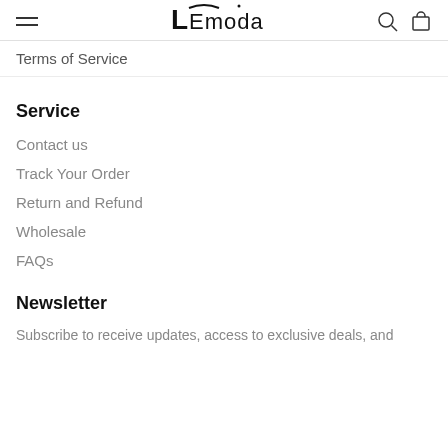LEmoda
Terms of Service
Service
Contact us
Track Your Order
Return and Refund
Wholesale
FAQs
Newsletter
Subscribe to receive updates, access to exclusive deals, and